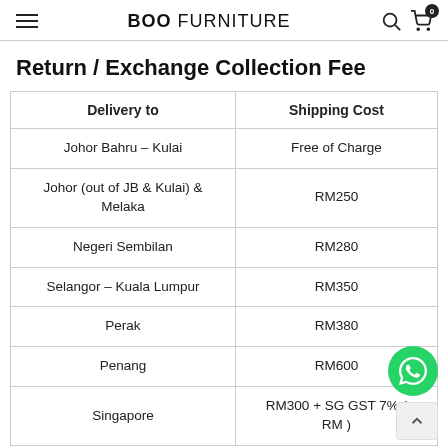BOO FURNITURE
Return / Exchange Collection Fee
| Delivery to | Shipping Cost |
| --- | --- |
| Johor Bahru – Kulai | Free of Charge |
| Johor (out of JB & Kulai) & Melaka | RM250 |
| Negeri Sembilan | RM280 |
| Selangor – Kuala Lumpur | RM350 |
| Perak | RM380 |
| Penang | RM600 |
| Singapore | RM300 + SG GST 7% ( RM ) |